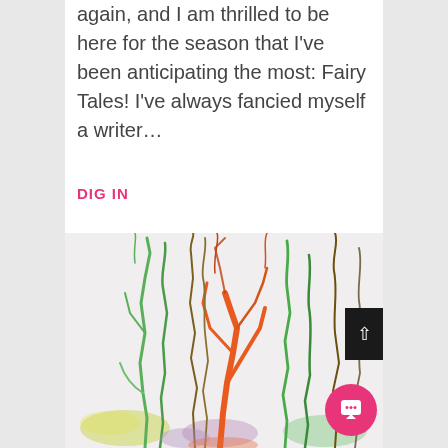again, and I am thrilled to be here for the season that I've been anticipating the most: Fairy Tales! I've always fancied myself a writer…
DIG IN
[Figure (illustration): Colorful abstract painting of tree branches with red, green, orange, yellow, and purple ink washes on white background, creating an organic, flowing forest-like composition.]